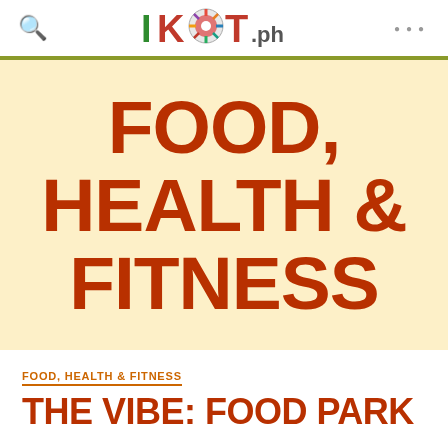IKOT.PH
FOOD, HEALTH & FITNESS
FOOD, HEALTH & FITNESS
THE VIBE: FOOD PARK